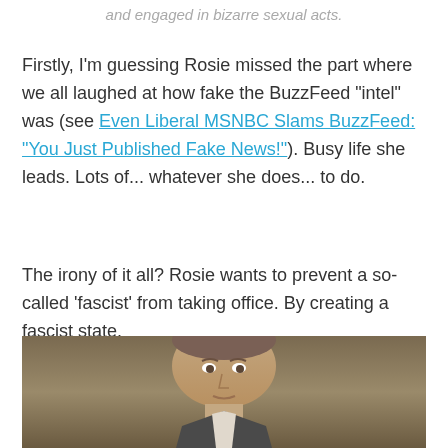and engaged in bizarre sexual acts.
Firstly, I'm guessing Rosie missed the part where we all laughed at how fake the BuzzFeed "intel" was (see Even Liberal MSNBC Slams BuzzFeed: "You Just Published Fake News!"). Busy life she leads. Lots of... whatever she does... to do.
The irony of it all? Rosie wants to prevent a so-called 'fascist' from taking office. By creating a fascist state.
[Figure (photo): Partial photo of a person's face/upper body, cropped at bottom of page]